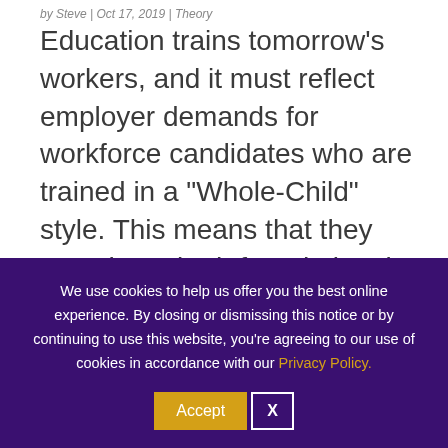by Steve | Oct 17, 2019 | Theory
Education trains tomorrow's workers, and it must reflect employer demands for workforce candidates who are trained in a “Whole-Child” style. This means that they must have both foundational STEM content mastery and Soft Skills, including creativity.
We use cookies to help us offer you the best online experience. By closing or dismissing this notice or by continuing to use this website, you’re agreeing to our use of cookies in accordance with our Privacy Policy.
Accept  X